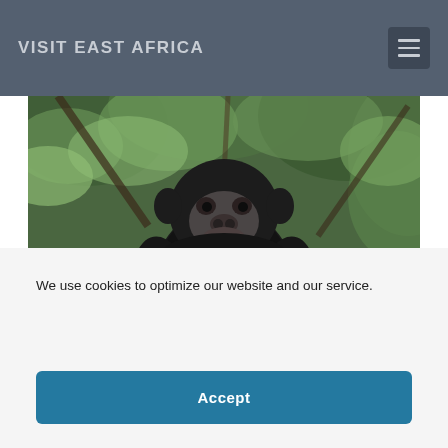VISIT EAST AFRICA
[Figure (photo): Close-up photograph of a chimpanzee sitting in a jungle/forest setting, looking upward, surrounded by green foliage and branches.]
We use cookies to optimize our website and our service.
Accept